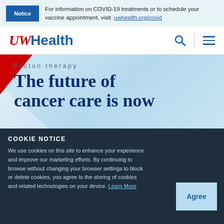Notice — For information on COVID-19 treatments or to schedule your vaccine appointment, visit uwhealth.org/covid
[Figure (logo): UWHealth logo with red UW and blue Health text]
Proton therapy
The future of cancer care is now
COOKIE NOTICE
We use cookies on this site to enhance your experience and improve our marketing efforts. By continuing to browse without changing your browser settings to block or delete cookies, you agree to the storing of cookies and related technologies on your device. Learn More